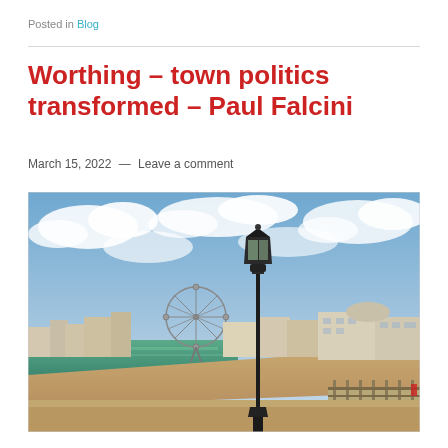Posted in Blog
Worthing – town politics transformed – Paul Falcini
March 15, 2022 — Leave a comment
[Figure (photo): Panoramic coastal view of Worthing seafront showing beach, ferris wheel, buildings, and a black Victorian lamp post in the foreground under a partly cloudy sky]